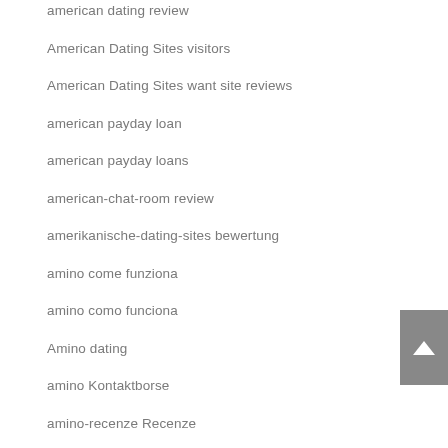american dating review
American Dating Sites visitors
American Dating Sites want site reviews
american payday loan
american payday loans
american-chat-room review
amerikanische-dating-sites bewertung
amino come funziona
amino como funciona
Amino dating
amino Kontaktborse
amino-recenze Recenze
amolatina fr review
AmoLatina visitors
Amor en Linea apk